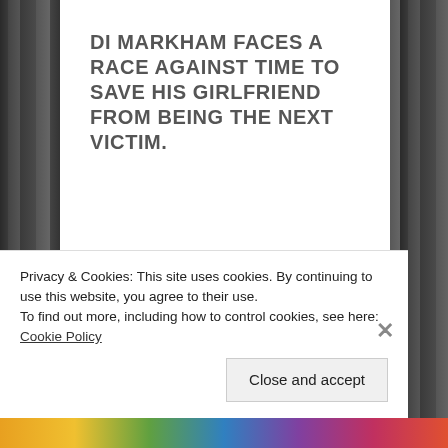[Figure (photo): Background image of dark bookshelves with books, visible on left and right sides behind the white content panel]
DI MARKHAM FACES A RACE AGAINST TIME TO SAVE HIS GIRLFRIEND FROM BEING THE NEXT VICTIM.
My Review
Privacy & Cookies: This site uses cookies. By continuing to use this website, you agree to their use.
To find out more, including how to control cookies, see here: Cookie Policy
Close and accept